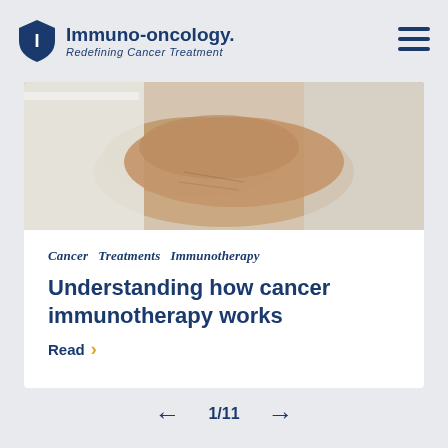Immuno-oncology. Redefining Cancer Treatment
[Figure (photo): Close-up photo of a person's arm and wrist, wearing a white lab coat, suggesting a medical professional]
Cancer  Treatments  Immunotherapy
Understanding how cancer immunotherapy works
Read >
← 1/11 →